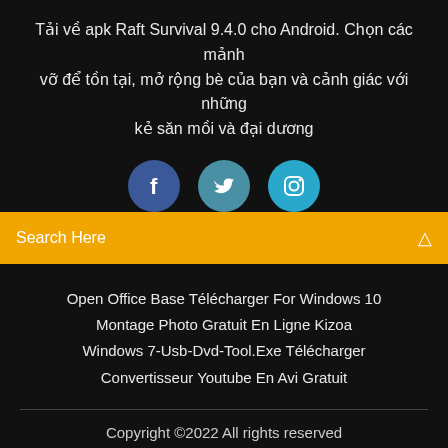Tải về apk Raft Survival 9.4.0 cho Android. Chọn các mảnh vỡ để tồn tại, mở rộng bè của bạn và cảnh giác với những kẻ săn mồi và đại dương
[Figure (other): Three circular social media icons: Facebook (dark blue), Twitter (teal), Instagram (light blue)]
Search Here
Open Office Base Télécharger For Windows 10
Montage Photo Gratuit En Ligne Kizoa
Windows 7-Usb-Dvd-Tool.Exe Télécharger
Convertisseur Youtube En Avi Gratuit
Copyright ©2022 All rights reserved